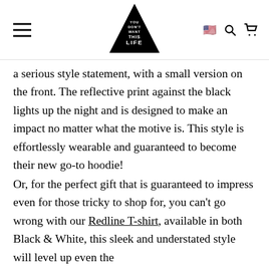YOU DON'T WANT THIS LIFE (logo with navigation icons)
a serious style statement, with a small version on the front. The reflective print against the black lights up the night and is designed to make an impact no matter what the motive is. This style is effortlessly wearable and guaranteed to become their new go-to hoodie!
Or, for the perfect gift that is guaranteed to impress even for those tricky to shop for, you can't go wrong with our Redline T-shirt, available in both Black & White, this sleek and understated style will level up even the